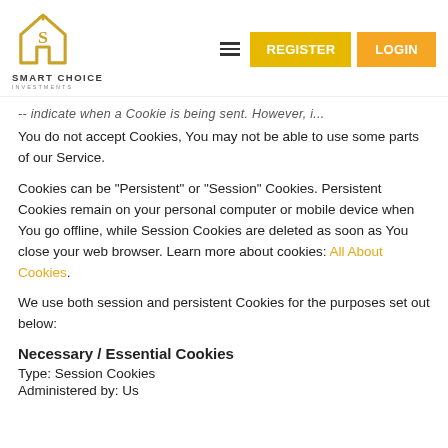Smart Choice Investments — REGISTER LOGIN navigation header
-- indicate when a Cookie is being sent. However, if You do not accept Cookies, You may not be able to use some parts of our Service.
Cookies can be "Persistent" or "Session" Cookies. Persistent Cookies remain on your personal computer or mobile device when You go offline, while Session Cookies are deleted as soon as You close your web browser. Learn more about cookies: All About Cookies.
We use both session and persistent Cookies for the purposes set out below:
Necessary / Essential Cookies
Type: Session Cookies
Administered by: Us